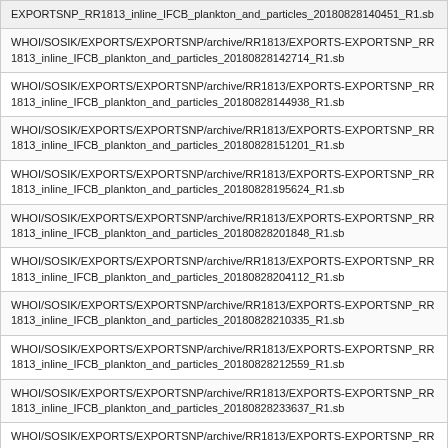| EXPORTSNP_RR1813_inline_IFCB_plankton_and_particles_20180828140451_R1.sb |
| WHOI/SOSIK/EXPORTS/EXPORTSNP/archive/RR1813/EXPORTS-EXPORTSNP_RR1813_inline_IFCB_plankton_and_particles_20180828142714_R1.sb |
| WHOI/SOSIK/EXPORTS/EXPORTSNP/archive/RR1813/EXPORTS-EXPORTSNP_RR1813_inline_IFCB_plankton_and_particles_20180828144938_R1.sb |
| WHOI/SOSIK/EXPORTS/EXPORTSNP/archive/RR1813/EXPORTS-EXPORTSNP_RR1813_inline_IFCB_plankton_and_particles_20180828151201_R1.sb |
| WHOI/SOSIK/EXPORTS/EXPORTSNP/archive/RR1813/EXPORTS-EXPORTSNP_RR1813_inline_IFCB_plankton_and_particles_20180828195624_R1.sb |
| WHOI/SOSIK/EXPORTS/EXPORTSNP/archive/RR1813/EXPORTS-EXPORTSNP_RR1813_inline_IFCB_plankton_and_particles_20180828201848_R1.sb |
| WHOI/SOSIK/EXPORTS/EXPORTSNP/archive/RR1813/EXPORTS-EXPORTSNP_RR1813_inline_IFCB_plankton_and_particles_20180828204112_R1.sb |
| WHOI/SOSIK/EXPORTS/EXPORTSNP/archive/RR1813/EXPORTS-EXPORTSNP_RR1813_inline_IFCB_plankton_and_particles_20180828210335_R1.sb |
| WHOI/SOSIK/EXPORTS/EXPORTSNP/archive/RR1813/EXPORTS-EXPORTSNP_RR1813_inline_IFCB_plankton_and_particles_20180828212559_R1.sb |
| WHOI/SOSIK/EXPORTS/EXPORTSNP/archive/RR1813/EXPORTS-EXPORTSNP_RR1813_inline_IFCB_plankton_and_particles_20180828233637_R1.sb |
| WHOI/SOSIK/EXPORTS/EXPORTSNP/archive/RR1813/EXPORTS-EXPORTSNP_RR1813_inline_IFCB_plankton_and_particles_20180828235901_R1.sb |